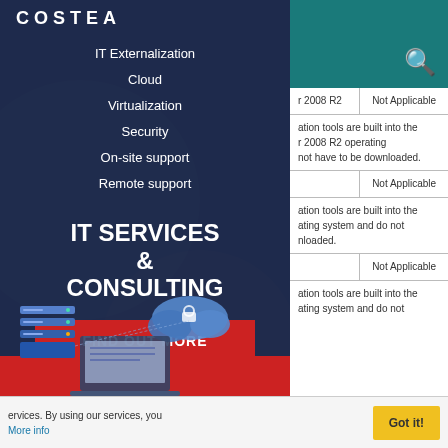[Figure (screenshot): IT services sidebar with logo COSTEA, navigation links (IT Externalization, Cloud, Virtualization, Security, On-site support, Remote support), IT SERVICES & CONSULTING heading, FIND OUT MORE button, and server/cloud illustration]
| Description | Not Applicable |
| --- | --- |
| r 2008 R2 | Not Applicable |
| ation tools are built into the
r 2008 R2 operating
not have to be downloaded. |  |
|  | Not Applicable |
| ation tools are built into the
ating system and do not
nloaded. |  |
|  | Not Applicable |
| ation tools are built into the
ating system and do not |  |
ervices. By using our services, you
More info
Got it!